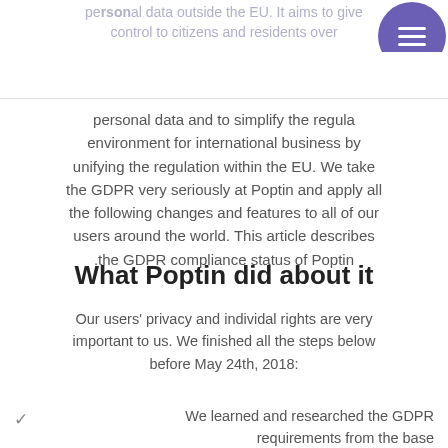personal data outside the EU. It aims to give control to citizens and residents over
personal data and to simplify the regulatory environment for international business by unifying the regulation within the EU. We take the GDPR very seriously at Poptin and apply all the following changes and features to all of our users around the world. This article describes the GDPR compliance status of Poptin.
What Poptin did about it
Our users' privacy and individal rights are very important to us. We finished all the steps below before May 24th, 2018:
We learned and researched the GDPR requirements from the base